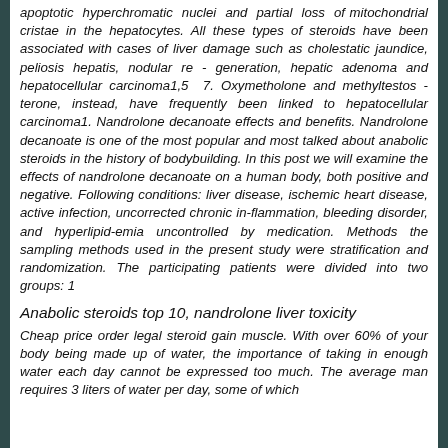apoptotic hyperchromatic nuclei and partial loss of mitochondrial cristae in the hepatocytes. All these types of steroids have been associated with cases of liver damage such as cholestatic jaundice, peliosis hepatis, nodular re - generation, hepatic adenoma and hepatocellular carcinoma1,5 7. Oxymetholone and methyltestos - terone, instead, have frequently been linked to hepatocellular carcinoma1. Nandrolone decanoate effects and benefits. Nandrolone decanoate is one of the most popular and most talked about anabolic steroids in the history of bodybuilding. In this post we will examine the effects of nandrolone decanoate on a human body, both positive and negative. Following conditions: liver disease, ischemic heart disease, active infection, uncorrected chronic in-flammation, bleeding disorder, and hyperlipid-emia uncontrolled by medication. Methods the sampling methods used in the present study were stratification and randomization. The participating patients were divided into two groups: 1
Anabolic steroids top 10, nandrolone liver toxicity
Cheap price order legal steroid gain muscle. With over 60% of your body being made up of water, the importance of taking in enough water each day cannot be expressed too much. The average man requires 3 liters of water per day, some of which